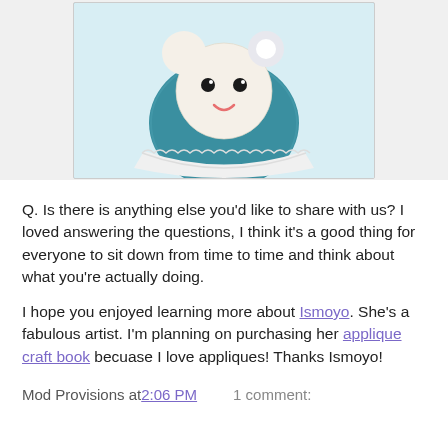[Figure (photo): A cute knitted amigurumi toy with a round cream-colored face with black bead eyes and a pink smile, wearing a teal blue fuzzy body, sitting in a white scalloped cupcake liner, photographed on a white background.]
Q. Is there is anything else you'd like to share with us? I loved answering the questions, I think it's a good thing for everyone to sit down from time to time and think about what you're actually doing.
I hope you enjoyed learning more about Ismoyo. She's a fabulous artist. I'm planning on purchasing her applique craft book becuase I love appliques! Thanks Ismoyo!
Mod Provisions at 2:06 PM   1 comment: